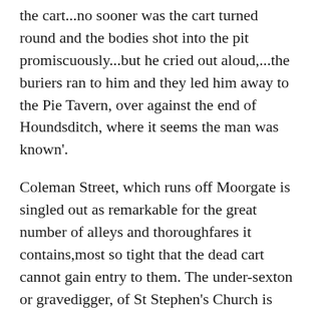the cart...no sooner was the cart turned round and the bodies shot into the pit promiscuously...but he cried out aloud,...the buriers ran to him and they led him away to the Pie Tavern, over against the end of Houndsditch, where it seems the man was known'.
Coleman Street, which runs off Moorgate is singled out as remarkable for the great number of alleys and thoroughfares it contains,most so tight that the dead cart cannot gain entry to them. The under-sexton or gravedigger, of St Stephen's Church is forced to improvise by using a hand-barrow, perhaps taken from one of the nearby markets, to collect corpses through, 'Whites Alley, Cross Key Court, Swan Alley, Bell Alley, White Horse Alley, and many more'.
In late August, during the worst phase of the